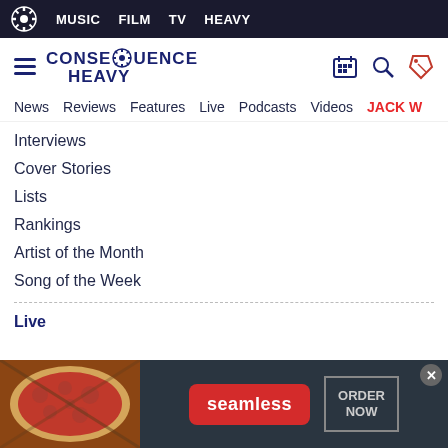MUSIC  FILM  TV  HEAVY
[Figure (logo): Consequence Heavy site logo with gear icon]
News  Reviews  Features  Live  Podcasts  Videos  JACK W
Interviews
Cover Stories
Lists
Rankings
Artist of the Month
Song of the Week
Live
[Figure (photo): Seamless food delivery advertisement banner with pizza image, seamless logo, and ORDER NOW button]